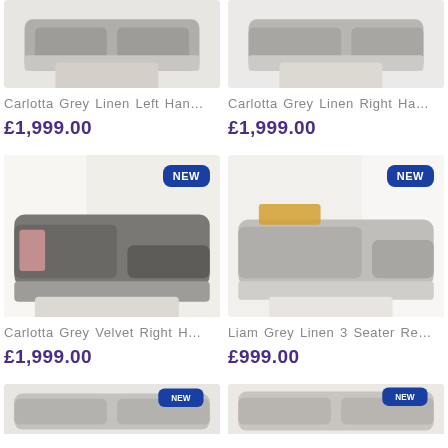[Figure (photo): Carlotta Grey Linen Left Hand sofa product photo (top-cropped)]
Carlotta Grey Linen Left Han…
£1,999.00
[Figure (photo): Carlotta Grey Linen Right Hand sofa product photo (top-cropped)]
Carlotta Grey Linen Right Ha…
£1,999.00
[Figure (photo): Carlotta Grey Velvet Right Hand sofa product photo with NEW badge]
Carlotta Grey Velvet Right H…
£1,999.00
[Figure (photo): Liam Grey Linen 3 Seater sofa product photo with NEW badge]
Liam Grey Linen 3 Seater Re…
£999.00
[Figure (photo): Bottom left sofa product photo (partially visible)]
[Figure (photo): Bottom right sofa product photo (partially visible)]